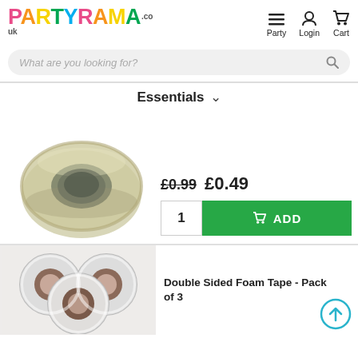[Figure (logo): Partyrama.co.uk logo with multicoloured letters]
[Figure (infographic): Navigation icons: hamburger menu (Party), user icon (Login), cart icon (Cart)]
What are you looking for?
Essentials
[Figure (photo): A roll of clear sticky tape/sellotape viewed from the side]
£0.99  £0.49
1  ADD
[Figure (photo): Three rolls of double sided foam tape arranged together, white tape on brown cardboard cores]
Double Sided Foam Tape - Pack of 3